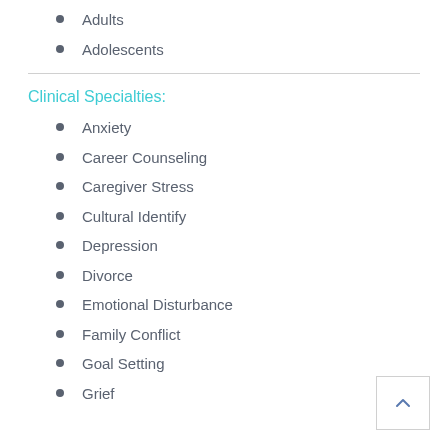Adults
Adolescents
Clinical Specialties:
Anxiety
Career Counseling
Caregiver Stress
Cultural Identify
Depression
Divorce
Emotional Disturbance
Family Conflict
Goal Setting
Grief